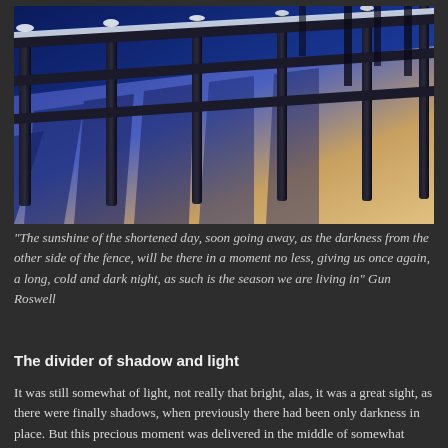[Figure (photo): Winter photograph showing a wooden fence with snow on the rails, casting long diagonal shadows on the snow-covered ground. The sky and shadows are blue-toned, while the sunlit areas show warm golden hues.]
"The sunshine of the shortened day, soon going away, as the darkness from the other side of the fence, will be there in a moment no less, giving us once again, a long, cold and dark night, as such is the season we are living in" Gun Roswell
The divider of shadow and light
It was still somewhat of light, not really that bright, alas, it was a great sight, as there were finally shadows, when previously there had been only darkness in place. But this precious moment was delivered in the middle of somewhat torment